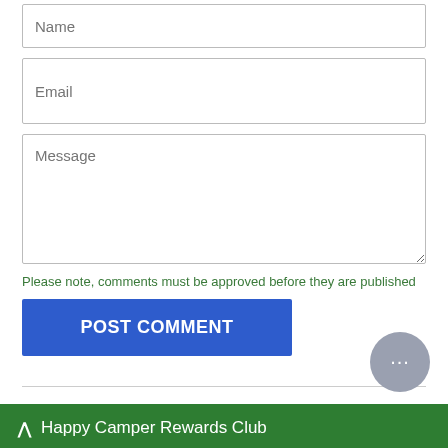[Figure (screenshot): Name input field with placeholder text 'Name']
[Figure (screenshot): Email input field with placeholder text 'Email']
[Figure (screenshot): Message textarea with placeholder text 'Message']
Please note, comments must be approved before they are published
POST COMMENT
Categories
Adage Origin
Happy Camper Rewards Club